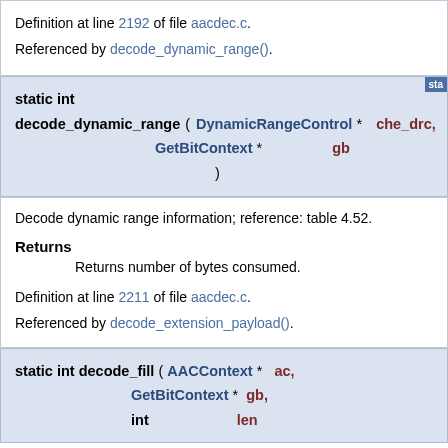Definition at line 2192 of file aacdec.c.
Referenced by decode_dynamic_range().
static int decode_dynamic_range ( DynamicRangeControl * che_drc, GetBitContext * gb )
Decode dynamic range information; reference: table 4.52.
Returns
Returns number of bytes consumed.
Definition at line 2211 of file aacdec.c.
Referenced by decode_extension_payload().
static int decode_fill ( AACContext * ac, GetBitContext * gb, int len